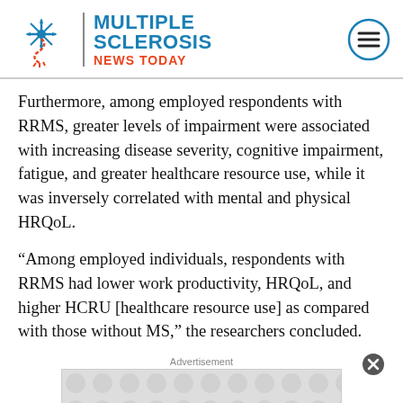Multiple Sclerosis News Today
Furthermore, among employed respondents with RRMS, greater levels of impairment were associated with increasing disease severity, cognitive impairment, fatigue, and greater healthcare resource use, while it was inversely correlated with mental and physical HRQoL.
“Among employed individuals, respondents with RRMS had lower work productivity, HRQoL, and higher HCRU [healthcare resource use] as compared with those without MS,” the researchers concluded.
According to the team, reducing disease symptoms and improving therapies may help decrease the associated burden and work force impact. This